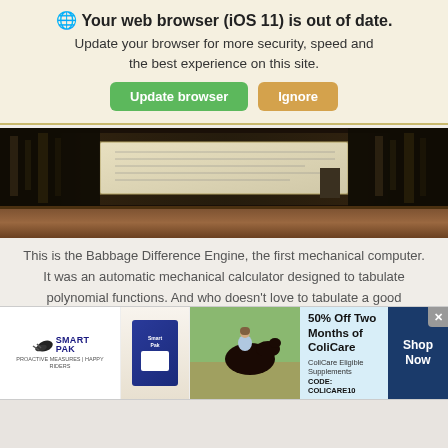🌐 Your web browser (iOS 11) is out of date. Update your browser for more security, speed and the best experience on this site. [Update browser] [Ignore]
[Figure (photo): Museum exhibit photo showing the Babbage Difference Engine displayed behind glass with dark machinery on the sides and a document/paper display in the center on a wooden floor.]
This is the Babbage Difference Engine, the first mechanical computer. It was an automatic mechanical calculator designed to tabulate polynomial functions. And who doesn't love to tabulate a good polynomial function now and then? I know I do.
[Figure (other): Play button circle icon (video player control)]
[Figure (infographic): SmartPak advertisement banner: 50% Off Two Months of ColiCare, ColiCare Eligible Supplements, CODE: COLICARE10, Shop Now]